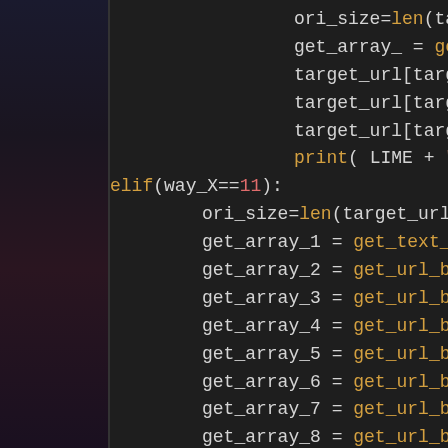[Figure (screenshot): Code editor screenshot showing Python code with dark theme. The code shows variable assignments with get_url_by_tagname and get_text_url function calls, an elif block checking way_X==11, and multiple get_array assignments inside it.]